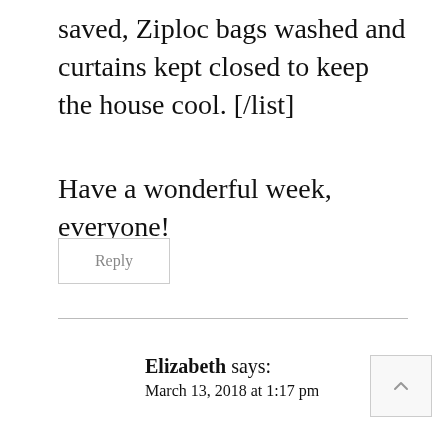saved, Ziploc bags washed and curtains kept closed to keep the house cool. [/list]
Have a wonderful week, everyone!
Reply
Elizabeth says:
March 13, 2018 at 1:17 pm